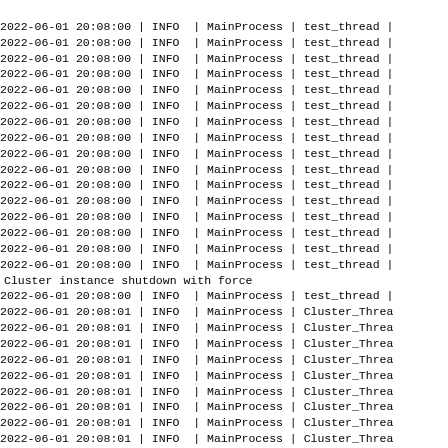Log output showing rows with timestamp 2022-06-01 20:08:00 | INFO | MainProcess | test_thread (repeated 16 rows, first row truncated at top), then 'Cluster instance shutdown with force', then rows with MainProcess | test_thread and Cluster_Thread entries from 20:08:00 to 20:08:01 including one ERROR row.